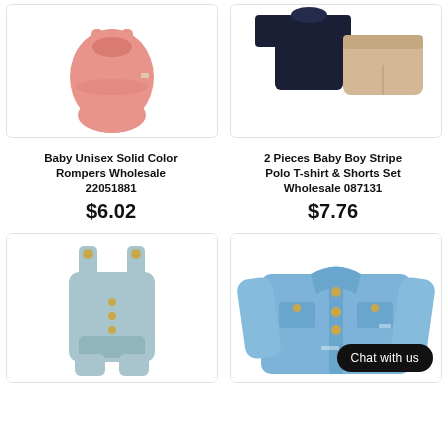[Figure (photo): Baby unisex solid color pink romper on white background]
[Figure (photo): 2-piece baby boy set: navy polo t-shirt and khaki shorts on white background]
Baby Unisex Solid Color Rompers Wholesale 22051881
2 Pieces Baby Boy Stripe Polo T-shirt & Shorts Set Wholesale 087131
$6.02
$7.76
[Figure (photo): Baby blue sleeveless romper with gold buttons on white background]
[Figure (photo): Baby denim jacket on white background with Chat with us overlay badge]